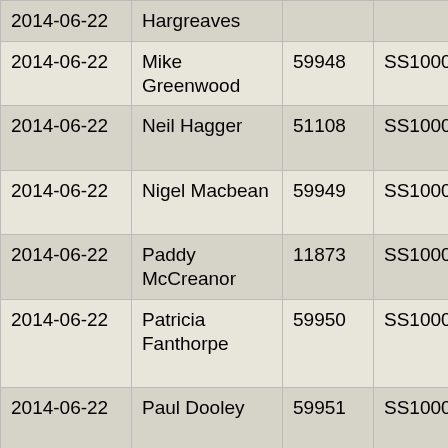| Date | Name | No. | Class | Bike | Code/Score |
| --- | --- | --- | --- | --- | --- |
| 2014-06-22 | Hargreaves |  |  | Sprint GT | RBL 100 |
| 2014-06-22 | Mike Greenwood | 59948 | SS1000 | Honda VFR800 | RBL 100 |
| 2014-06-22 | Neil Hagger | 51108 | SS1000 | Kawasaki Z1000SX | RBL 100 |
| 2014-06-22 | Nigel Macbean | 59949 | SS1000 | Kawasaki ZRX1100 | RBL 100 |
| 2014-06-22 | Paddy McCreanor | 11873 | SS1000 | Honda GL1800 Gold Wing | RBL 100 |
| 2014-06-22 | Patricia Fanthorpe | 59950 | SS1000 | Harley-Davidson FLHTC Electra Glide Classic | RBL 100 |
| 2014-06-22 | Paul Dooley | 59951 | SS1000 | Yamaha XVS950 Midnight Star | RBL 100 |
| 2014-06-22 | Paul Mumby | 57603 | SS1000 | Honda CBR1100XX Super | RBL 100 |